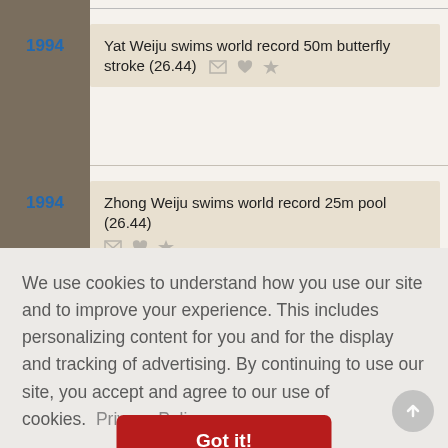1994 — Yat Weiju swims world record 50m butterfly stroke (26.44)
1994 — Zhong Weiju swims world record 25m pool (26.44)
1995 — Atlanta Hawks' Lenny Wilkens becomes NBA's...
We use cookies to understand how you use our site and to improve your experience. This includes personalizing content for you and for the display and tracking of advertising. By continuing to use our site, you accept and agree to our use of cookies.  Privacy Policy
Got it!